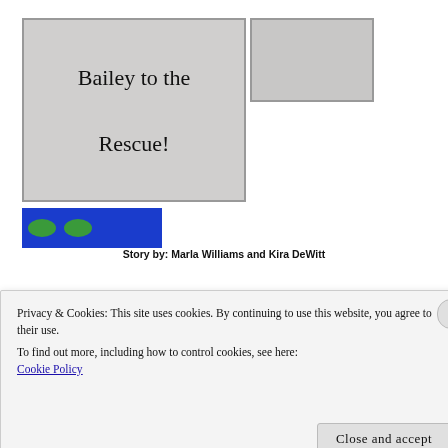Bailey to the Rescue!
Story by: Marla Williams and Kira DeWitt
[Figure (illustration): Illustrated book cover showing a brown and white fluffy dog lying on a green and white star-patterned oval rug, holding a purple/magenta item in its mouth. Small white bird or object above the dog's head.]
Illustrations by Haley Kimble
Privacy & Cookies: This site uses cookies. By continuing to use this website, you agree to their use.
To find out more, including how to control cookies, see here:
Cookie Policy
Close and accept